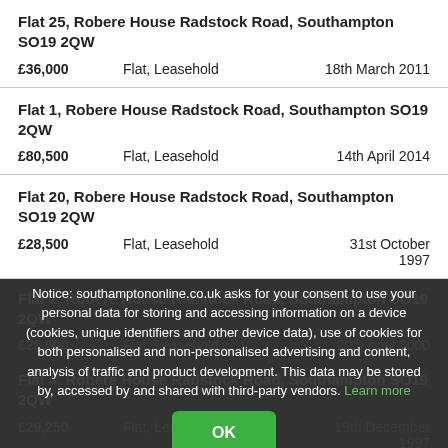Flat 25, Robere House Radstock Road, Southampton SO19 2QW
£36,000   Flat, Leasehold   18th March 2011
Flat 1, Robere House Radstock Road, Southampton SO19 2QW
£80,500   Flat, Leasehold   14th April 2014
Flat 20, Robere House Radstock Road, Southampton SO19 2QW
£28,500   Flat, Leasehold   31st October 1997
Flat 2, Robere House Radstock Road, Southampton SO19 2QW
£25,000   Flat, Leasehold   20th April 2000
Flat 4, Robere House Radstock Road, Southampton SO19 2QW
£29,250   Flat, Leasehold   19th December 1997
Notice: southamptononline.co.uk asks for your consent to use your personal data for storing and accessing information on a device (cookies, unique identifiers and other device data), use of cookies for both personalised and non-personalised advertising and content, analysis of traffic and product development. This data may be stored by, accessed by and shared with third-party vendors. Learn more